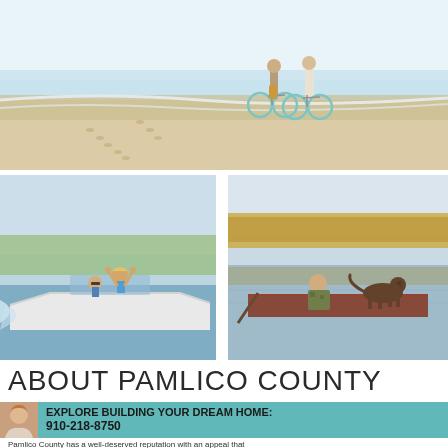[Figure (photo): Two people walking bicycles along a beach shoreline, sunny day, ocean waves in background]
[Figure (photo): Two people on a motorboat on a lake or river, woman with arms raised in excitement]
[Figure (photo): Person in camouflage clothing sitting in a small boat with a dog, calm water with tree line in background]
ABOUT PAMLICO COUNTY
EXPLORE BUILDING YOUR DREAM HOME:
910-218-8750
Pamlico County has a well-deserved reputation with an appeal that...